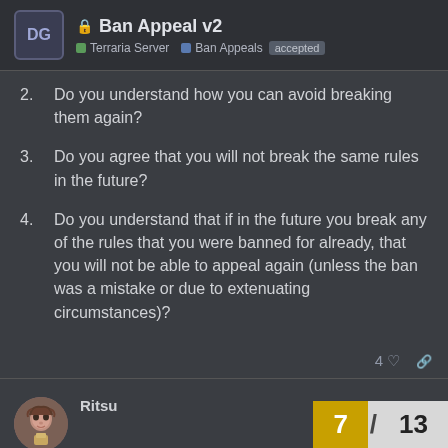Ban Appeal v2 | Terraria Server | Ban Appeals | accepted
2. Do you understand how you can avoid breaking them again?
3. Do you agree that you will not break the same rules in the future?
4. Do you understand that if in the future you break any of the rules that you were banned for already, that you will not be able to appeal again (unless the ban was a mistake or due to extenuating circumstances)?
Ritsu — 15 May
I do understand?
7 / 13